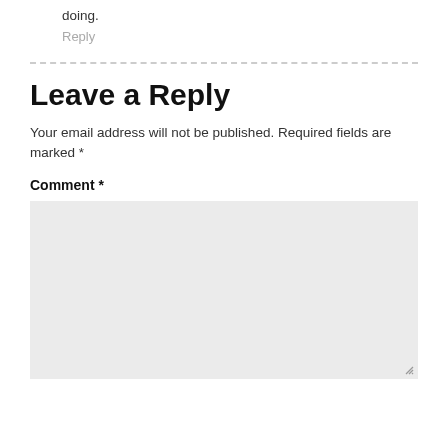doing.
Reply
Leave a Reply
Your email address will not be published. Required fields are marked *
Comment *
[Figure (other): Empty comment text area input box with light gray background and resize handle]